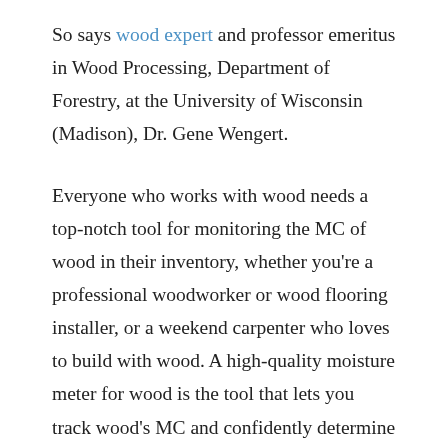So says wood expert and professor emeritus in Wood Processing, Department of Forestry, at the University of Wisconsin (Madison), Dr. Gene Wengert.
Everyone who works with wood needs a top-notch tool for monitoring the MC of wood in their inventory, whether you're a professional woodworker or wood flooring installer, or a weekend carpenter who loves to build with wood. A high-quality moisture meter for wood is the tool that lets you track wood's MC and confidently determine when it's reached the MC% for its in-use location. The very best moisture meters are also the easiest to work with and provide added-value features beyond reliably returning accurate moisture measurements.